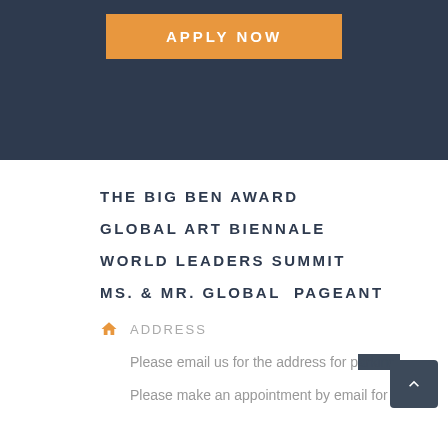APPLY NOW
THE BIG BEN AWARD
GLOBAL ART BIENNALE
WORLD LEADERS SUMMIT
MS. & MR. GLOBAL  PAGEANT
ADDRESS
Please email us for the address for parking.
Please make an appointment by email for